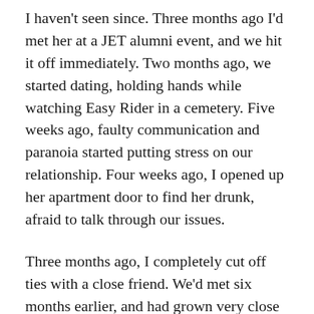I haven't seen since. Three months ago I'd met her at a JET alumni event, and we hit it off immediately. Two months ago, we started dating, holding hands while watching Easy Rider in a cemetery. Five weeks ago, faulty communication and paranoia started putting stress on our relationship. Four weeks ago, I opened up her apartment door to find her drunk, afraid to talk through our issues.
Three months ago, I completely cut off ties with a close friend. We'd met six months earlier, and had grown very close very quickly. She confided in me and I in her, and we even dated briefly. Four months ago, we went on a trip to Las Vegas with friends, and she spent the entire time hanging off the arm of a mutual acquaintance. Two weeks after that, I gave her several expensive baseball tickets as a parting gift, and told her I didn't want to see